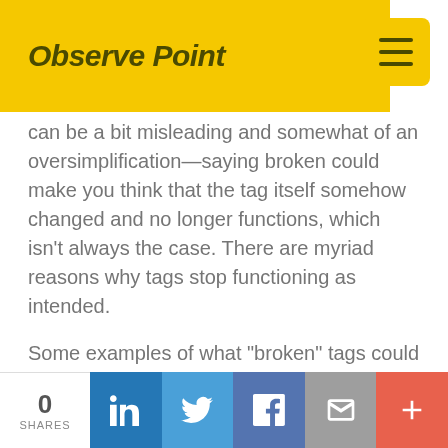ObservePoint
can be a bit misleading and somewhat of an oversimplification—saying broken could make you think that the tag itself somehow changed and no longer functions, which isn’t always the case. There are myriad reasons why tags stop functioning as intended.
Some examples of what “broken” tags could refer to are:
Errors in page code that prevent tags from
0 SHARES